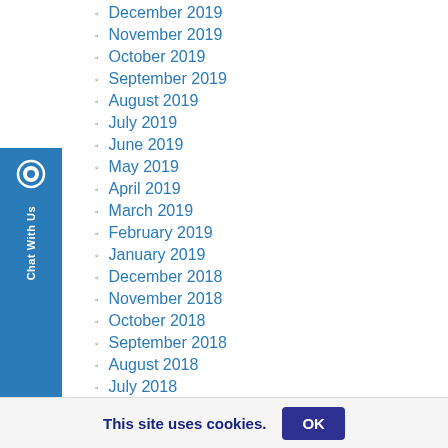December 2019
November 2019
October 2019
September 2019
August 2019
July 2019
June 2019
May 2019
April 2019
March 2019
February 2019
January 2019
December 2018
November 2018
October 2018
September 2018
August 2018
July 2018
June 2018
May 2018
This site uses cookies.
OK